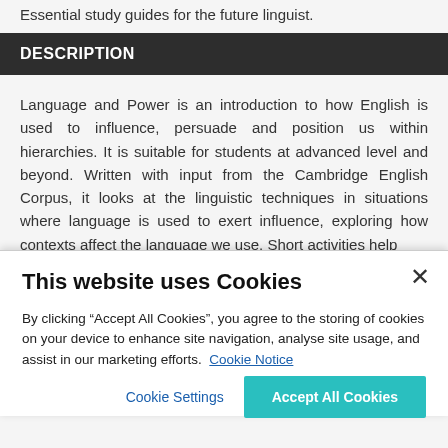Essential study guides for the future linguist.
DESCRIPTION
Language and Power is an introduction to how English is used to influence, persuade and position us within hierarchies. It is suitable for students at advanced level and beyond. Written with input from the Cambridge English Corpus, it looks at the linguistic techniques in situations where language is used to exert influence, exploring how contexts affect the language we use. Short activities help
This website uses Cookies
By clicking “Accept All Cookies”, you agree to the storing of cookies on your device to enhance site navigation, analyse site usage, and assist in our marketing efforts. Cookie Notice
Cookie Settings
Accept All Cookies